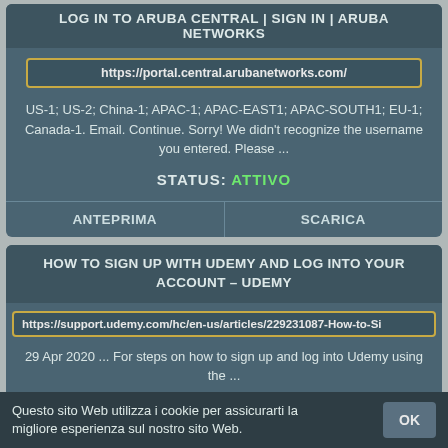LOG IN TO ARUBA CENTRAL | SIGN IN | ARUBA NETWORKS
https://portal.central.arubanetworks.com/
US-1; US-2; China-1; APAC-1; APAC-EAST1; APAC-SOUTH1; EU-1; Canada-1. Email. Continue. Sorry! We didn't recognize the username you entered. Please ...
STATUS: ATTIVO
| ANTEPRIMA | SCARICA |
| --- | --- |
HOW TO SIGN UP WITH UDEMY AND LOG INTO YOUR ACCOUNT – UDEMY
https://support.udemy.com/hc/en-us/articles/229231087-How-to-Si
29 Apr 2020 ... For steps on how to sign up and log into Udemy using the ...
Questo sito Web utilizza i cookie per assicurarti la migliore esperienza sul nostro sito Web.